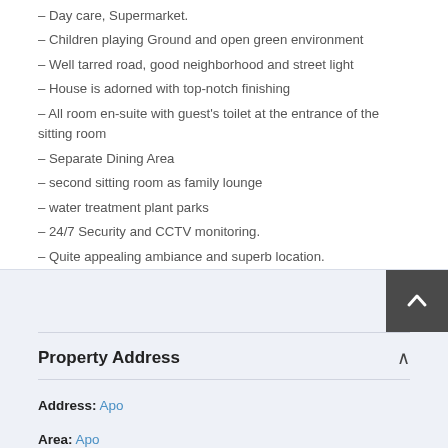– Day care, Supermarket.
– Children playing Ground and open green environment
– Well tarred road, good neighborhood and street light
– House is adorned with top-notch finishing
– All room en-suite with guest's toilet at the entrance of the sitting room
– Separate Dining Area
– second sitting room as family lounge
– water treatment plant parks
– 24/7 Security and CCTV monitoring.
– Quite appealing ambiance and superb location.
Property Address
Address: Apo
Area: Apo